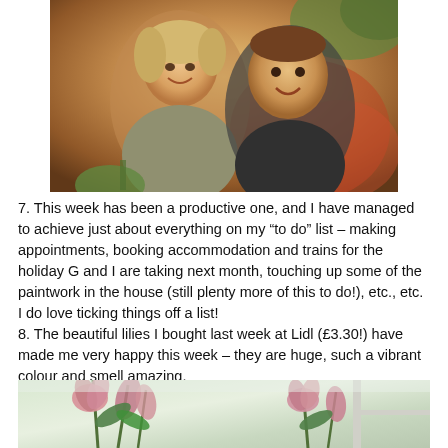[Figure (photo): Photo of a smiling woman and a teenage boy posing together indoors, warm orange/golden tones]
7. This week has been a productive one, and I have managed to achieve just about everything on my “to do” list – making appointments, booking accommodation and trains for the holiday G and I are taking next month, touching up some of the paintwork in the house (still plenty more of this to do!), etc., etc. I do love ticking things off a list!
8. The beautiful lilies I bought last week at Lidl (£3.30!) have made me very happy this week – they are huge, such a vibrant colour and smell amazing.
[Figure (photo): Photo of pink lilies in a vase on a windowsill]